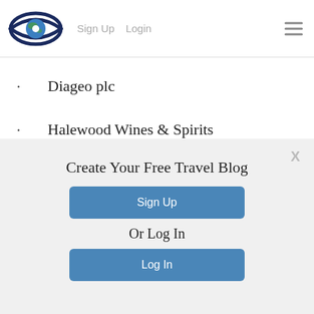Sign Up  Login
Diageo plc
Halewood Wines & Spirits
Manchester Drinks Company Ltd.
Create Your Free Travel Blog
Sign Up
Or Log In
Log In